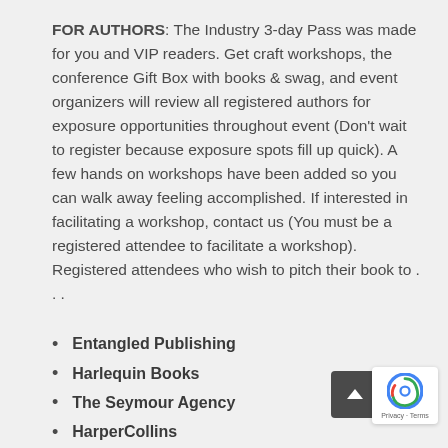FOR AUTHORS: The Industry 3-day Pass was made for you and VIP readers. Get craft workshops, the conference Gift Box with books & swag, and event organizers will review all registered authors for exposure opportunities throughout event (Don't wait to register because exposure spots fill up quick). A few hands on workshops have been added so you can walk away feeling accomplished. If interested in facilitating a workshop, contact us (You must be a registered attendee to facilitate a workshop). Registered attendees who wish to pitch their book to ...
Entangled Publishing
Harlequin Books
The Seymour Agency
HarperCollins